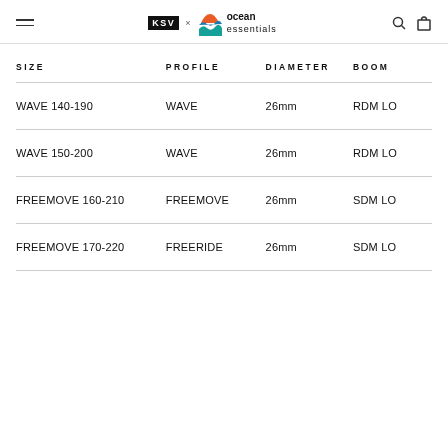KSV × ocean essentials
| SIZE | PROFILE | DIAMETER | BOOM |
| --- | --- | --- | --- |
| WAVE 140-190 | WAVE | 26mm | RDM LO |
| WAVE 150-200 | WAVE | 26mm | RDM LO |
| FREEMOVE 160-210 | FREEMOVE | 26mm | SDM LO |
| FREEMOVE 170-220 | FREERIDE | 26mm | SDM LO |